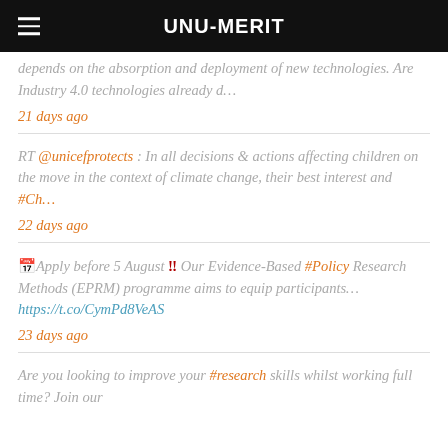UNU-MERIT
depends on the absorption and deployment of new technologies. Are Industry 4.0 technologies already d…
21 days ago
RT @unicefprotects : In all decisions & actions affecting children on the move in the context of climate change, their best interest and #Ch…
22 days ago
📅Apply before 5 August ‼ Our Evidence-Based #Policy Research Methods (EPRM) programme aims to equip participants… https://t.co/CymPd8VeAS
23 days ago
Are you looking to improve your #research skills whilst working full time? Join our